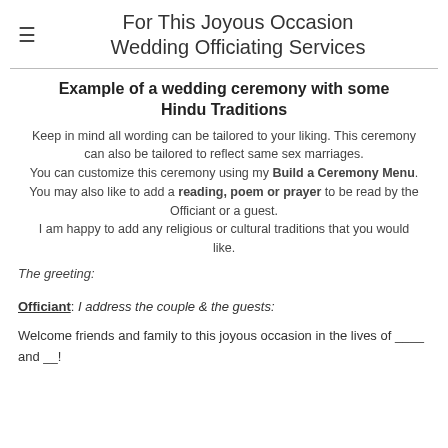For This Joyous Occasion Wedding Officiating Services
Example of a wedding ceremony with some Hindu Traditions
Keep in mind all wording can be tailored to your liking. This ceremony can also be tailored to reflect same sex marriages. You can customize this ceremony using my Build a Ceremony Menu. You may also like to add a reading, poem or prayer to be read by the Officiant or a guest. I am happy to add any religious or cultural traditions that you would like.
The greeting:
Officiant: I address the couple & the guests:
Welcome friends and family to this joyous occasion in the lives of ____ and __!